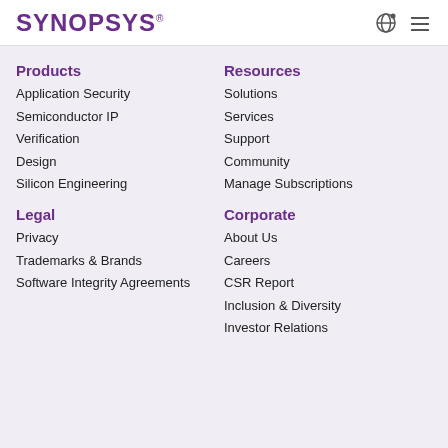SYNOPSYS
Products
Application Security
Semiconductor IP
Verification
Design
Silicon Engineering
Resources
Solutions
Services
Support
Community
Manage Subscriptions
Legal
Privacy
Trademarks & Brands
Software Integrity Agreements
Corporate
About Us
Careers
CSR Report
Inclusion & Diversity
Investor Relations